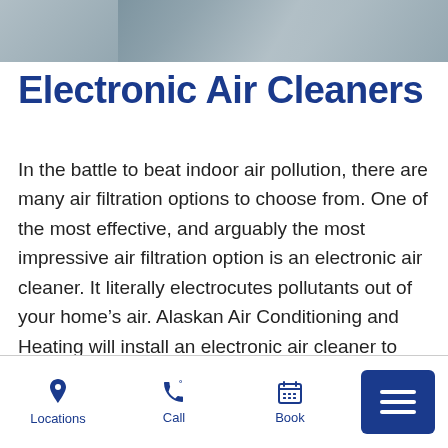[Figure (photo): Partial hero image showing what appears to be HVAC or air conditioning equipment, grey tones, occupies top right portion of page header area]
Electronic Air Cleaners
In the battle to beat indoor air pollution, there are many air filtration options to choose from. One of the most effective, and arguably the most impressive air filtration option is an electronic air cleaner. It literally electrocutes pollutants out of your home’s air. Alaskan Air Conditioning and Heating will install an electronic air cleaner to give you pure, healthy air in your Tucson or Phoenix area home.
Locations | Call | Book | Menu